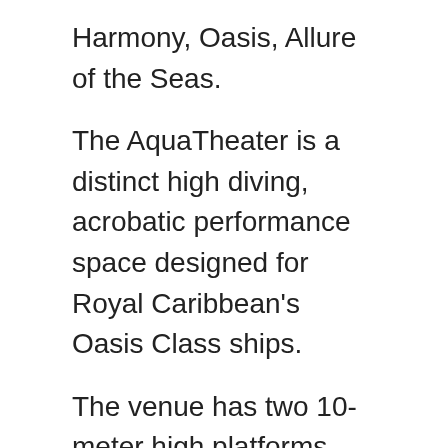Harmony, Oasis, Allure of the Seas.
The AquaTheater is a distinct high diving, acrobatic performance space designed for Royal Caribbean's Oasis Class ships.
The venue has two 10-meter high platforms and the hydraulic-floored pool, the largest and deepest freshwater pool at sea, below will serve as podiums for high-diving, hair-raising aerobatics that AquaTheater audiences have come to love.
On select evenings, you can enjoy